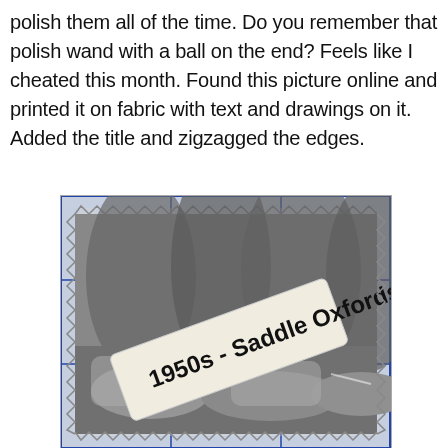polish them all of the time. Do you remember that polish wand with a ball on the end? Feels like I cheated this month. Found this picture online and printed it on fabric with text and drawings on it. Added the title and zigzagged the edges.
[Figure (photo): A fabric piece printed with a black and white photograph of saddle oxford shoes from the 1950s. A label overlaid on the photo reads '1950s - Saddle Oxfords' in bold black text. The fabric has zigzagged edges and is shown on a blue grid/tile background.]